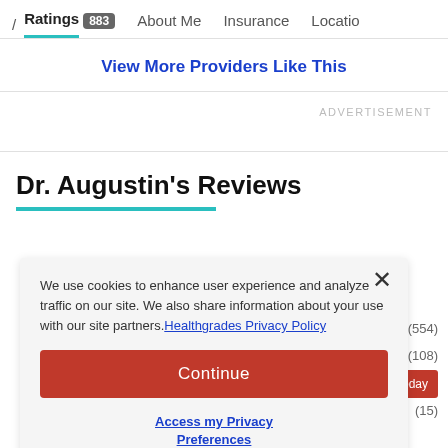/ Ratings 883  About Me  Insurance  Location
View More Providers Like This
ADVERTISEMENT
Dr. Augustin's Reviews
We use cookies to enhance user experience and analyze traffic on our site. We also share information about your use with our site partners. Healthgrades Privacy Policy
Continue
Access my Privacy Preferences